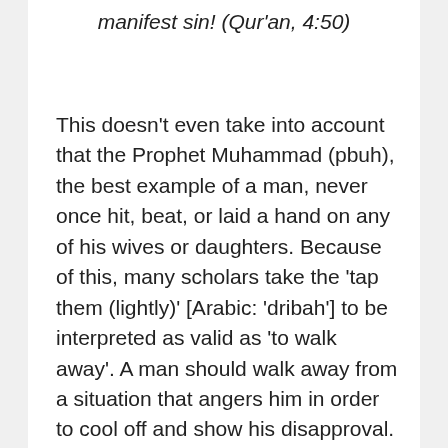manifest sin! (Qur'an, 4:50)
This doesn't even take into account that the Prophet Muhammad (pbuh), the best example of a man, never once hit, beat, or laid a hand on any of his wives or daughters. Because of this, many scholars take the 'tap them (lightly)' [Arabic: 'dribah'] to be interpreted as valid as 'to walk away'. A man should walk away from a situation that angers him in order to cool off and show his disapproval. Even if this translation/interpretation is not based on overwhelming consensus, the Sunnah (tradition) of the Prophet (pbuh) makes it clear that beating or abuse of any